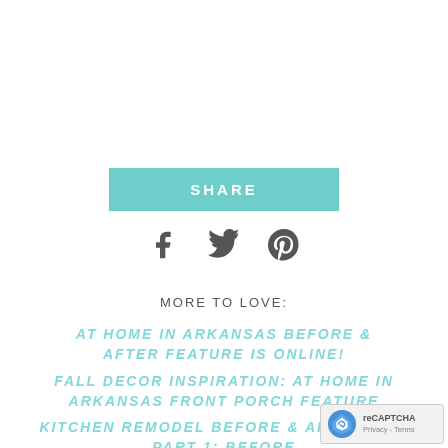[Figure (other): SHARE button with teal/turquoise background and white bold uppercase text]
[Figure (other): Social media icons: Facebook, Twitter, Pinterest in dark grey]
MORE TO LOVE:
AT HOME IN ARKANSAS BEFORE & AFTER FEATURE IS ONLINE!
FALL DECOR INSPIRATION: AT HOME IN ARKANSAS FRONT PORCH FEATURE
KITCHEN REMODEL BEFORE & AFTER RE... PART 1: BEFORE
[Figure (other): reCAPTCHA badge with logo and Privacy - Terms text]